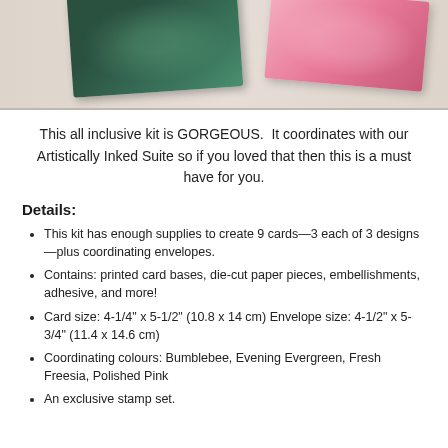[Figure (photo): Photograph showing two cards on a light beige background — one with dark green floral design and one with pink floral design.]
This all inclusive kit is GORGEOUS.  It coordinates with our Artistically Inked Suite so if you loved that then this is a must have for you.
Details:
This kit has enough supplies to create 9 cards—3 each of 3 designs—plus coordinating envelopes.
Contains: printed card bases, die-cut paper pieces, embellishments, adhesive, and more!
Card size: 4-1/4" x 5-1/2" (10.8 x 14 cm) Envelope size: 4-1/2" x 5-3/4" (11.4 x 14.6 cm)
Coordinating colours: Bumblebee, Evening Evergreen, Fresh Freesia, Polished Pink
An exclusive stamp set.